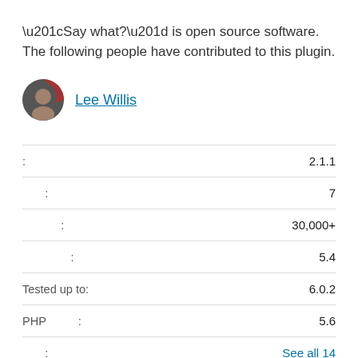“Say what?” is open source software. The following people have contributed to this plugin.
[Figure (photo): Circular avatar photo of Lee Willis contributor]
Lee Willis
| Label | Value |
| --- | --- |
| : | 2.1.1 |
| : | 7 |
| : | 30,000+ |
| : | 5.4 |
| Tested up to: | 6.0.2 |
| PHP : | 5.6 |
| : | See all 14 |